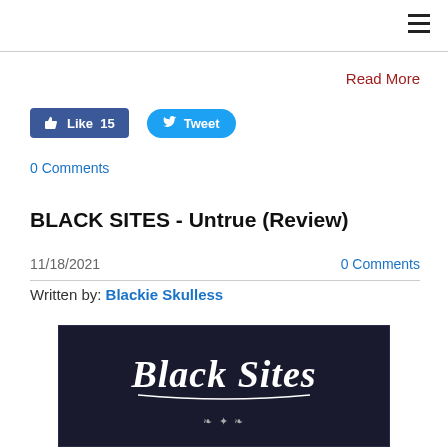Read More
[Figure (other): Facebook Like button with count 15 and Twitter Tweet button]
0 Comments
BLACK SITES - Untrue (Review)
11/18/2021    0 Comments
Written by: Blackie Skulless
[Figure (photo): Black Sites album artwork - dark background with ornate gothic Black Sites lettering in white and decorative illustration below]